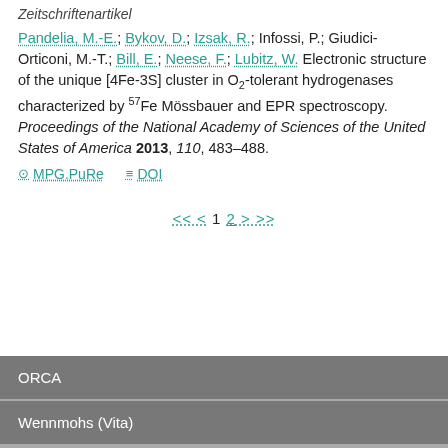Zeitschriftenartikel
Pandelia, M.-E.; Bykov, D.; Izsak, R.; Infossi, P.; Giudici-Orticoni, M.-T.; Bill, E.; Neese, F.; Lubitz, W. Electronic structure of the unique [4Fe-3S] cluster in O2-tolerant hydrogenases characterized by 57Fe Mössbauer and EPR spectroscopy. Proceedings of the National Academy of Sciences of the United States of America 2013, 110, 483–488.
MPG.PuRe   DOI
<< < 1 2 > >>
ORCA
Wennmohs (Vita)